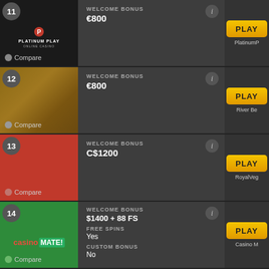11 - Platinum Play Online Casino - WELCOME BONUS €800 - PLAY - PlatinumP... - Compare
12 - River Belle - WELCOME BONUS €800 - PLAY - River Be... - Compare
13 - RoyalVegas - WELCOME BONUS C$1200 - PLAY - RoyalVeg... - Compare
14 - Casino Mate - WELCOME BONUS $1400 + 88 FS - FREE SPINS Yes - CUSTOM BONUS No - PLAY - Casino M... - Compare
15 - (partial)